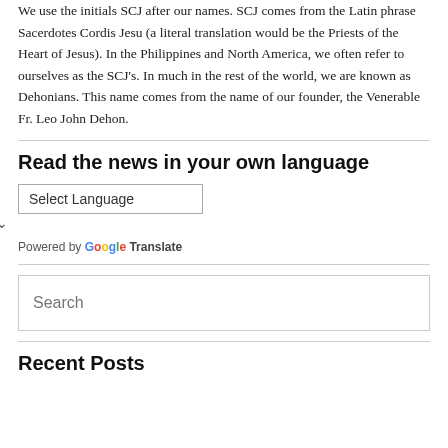We use the initials SCJ after our names. SCJ comes from the Latin phrase Sacerdotes Cordis Jesu (a literal translation would be the Priests of the Heart of Jesus). In the Philippines and North America, we often refer to ourselves as the SCJ's. In much in the rest of the world, we are known as Dehonians. This name comes from the name of our founder, the Venerable Fr. Leo John Dehon.
Read the news in your own language
Select Language — Powered by Google Translate
Recent Posts